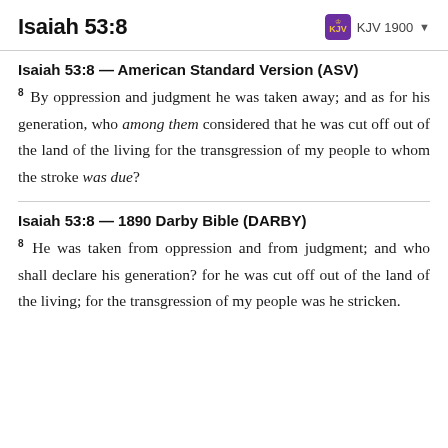Isaiah 53:8 — KJV 1900
Isaiah 53:8 — American Standard Version (ASV)
8 By oppression and judgment he was taken away; and as for his generation, who among them considered that he was cut off out of the land of the living for the transgression of my people to whom the stroke was due?
Isaiah 53:8 — 1890 Darby Bible (DARBY)
8 He was taken from oppression and from judgment; and who shall declare his generation? for he was cut off out of the land of the living; for the transgression of my people was he stricken.